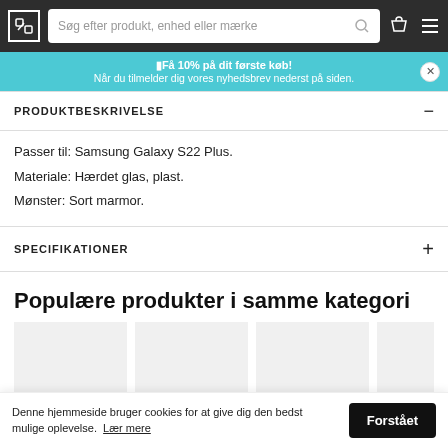Søg efter produkt, enhed eller mærke
[Figure (screenshot): Promotional banner: Få 10% på dit første køb! Når du tilmelder dig vores nyhedsbrev nederst på siden.]
PRODUKTBESKRIVELSE
Passer til: Samsung Galaxy S22 Plus.
Materiale: Hærdet glas, plast.
Mønster: Sort marmor.
SPECIFIKATIONER
Populære produkter i samme kategori
Denne hjemmeside bruger cookies for at give dig den bedst mulige oplevelse. Lær mere